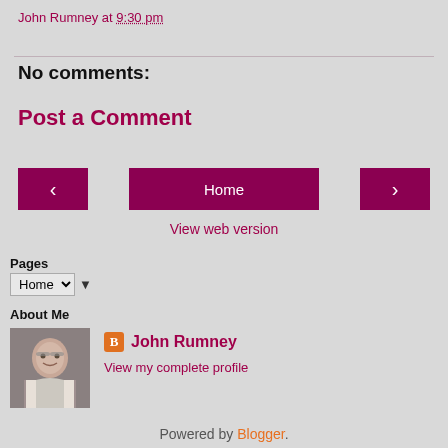John Rumney at 9:30 pm
No comments:
Post a Comment
[Figure (screenshot): Navigation buttons: left arrow, Home, right arrow]
View web version
Pages
Home ▼
About Me
[Figure (photo): Profile photo of John Rumney, middle-aged man with glasses, smiling]
John Rumney
View my complete profile
Powered by Blogger.